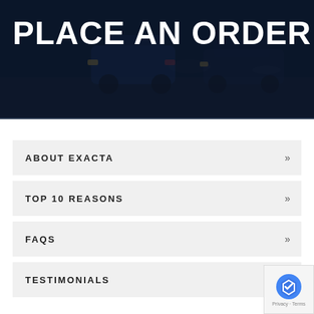PLACE AN ORDER
ABOUT EXACTA
TOP 10 REASONS
FAQS
TESTIMONIALS